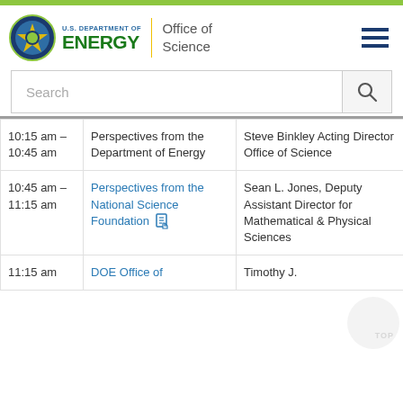[Figure (logo): U.S. Department of Energy Office of Science logo with DOE seal]
[Figure (other): Hamburger menu icon (three horizontal bars)]
Search
| Time | Session | Speaker |
| --- | --- | --- |
| 10:15 am – 10:45 am | Perspectives from the Department of Energy | Steve Binkley Acting Director Office of Science |
| 10:45 am – 11:15 am | Perspectives from the National Science Foundation [pdf icon] | Sean L. Jones, Deputy Assistant Director for Mathematical & Physical Sciences |
| 11:15 am | DOE Office of | Timothy J. |